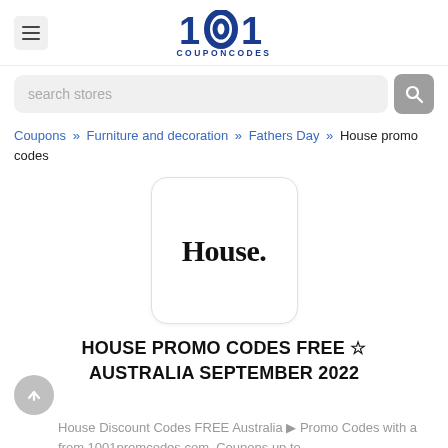[Figure (logo): 1001 CouponCodes logo in dark blue at the top center of the page, with hamburger menu icon on the left]
[Figure (other): Search bar with 'search stores' placeholder and grey search button]
Coupons » Furniture and decoration » Fathers Day » House promo codes
[Figure (logo): House brand logo in a rounded white box — bold serif 'House.' text]
HOUSE PROMO CODES FREE ☆ AUSTRALIA SEPTEMBER 2022
House Discount Codes FREE Australia ▶ Promo Codes with a from 1001promcodes.com. Coupons up to